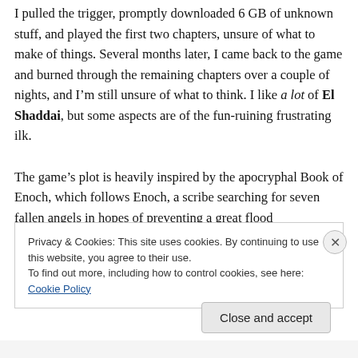I pulled the trigger, promptly downloaded 6 GB of unknown stuff, and played the first two chapters, unsure of what to make of things. Several months later, I came back to the game and burned through the remaining chapters over a couple of nights, and I'm still unsure of what to think. I like a lot of El Shaddai, but some aspects are of the fun-ruining frustrating ilk.

The game's plot is heavily inspired by the apocryphal Book of Enoch, which follows Enoch, a scribe searching for seven fallen angels in hopes of preventing a great flood
Privacy & Cookies: This site uses cookies. By continuing to use this website, you agree to their use.
To find out more, including how to control cookies, see here: Cookie Policy
Close and accept